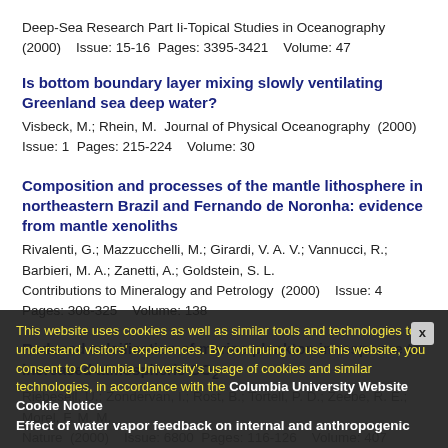Deep-Sea Research Part Ii-Topical Studies in Oceanography (2000)    Issue: 15-16  Pages: 3395-3421    Volume: 47
Is bottom boundary layer mixing slowly ventilating Greenland sea deep water?
Visbeck, M.; Rhein, M.  Journal of Physical Oceanography  (2000)  Issue: 1  Pages: 215-224    Volume: 30
Composition and processes of the mantle lithosphere in northeastern Brazil and Fernando de Noronha: evidence from mantle xenoliths
Rivalenti, G.; Mazzucchelli, M.; Girardi, V. A. V.; Vannucci, R.; Barbieri, M. A.; Zanetti, A.; Goldstein, S. L.
Contributions to Mineralogy and Petrology  (2000)    Issue: 4
Pages: 308-325    Volume: 138
Reduced calcification of marine plankton in response to increased atmospheric CO2
Riebesell, U.; Zondervan, I.; Rost, B.; Tortell, P. D.; Zeebe, R. E.; Morel, F. M. M.
Nature  (2000)    Issue: 6800  Pages: 116-126    Volume: 407
Effect of water vapor feedback on internal and anthropogenic variations of the global hydrological cycle
This website uses cookies as well as similar tools and technologies to understand visitors' experiences. By continuing to use this website, you consent to Columbia University's usage of cookies and similar technologies, in accordance with the Columbia University Website Cookie Notice